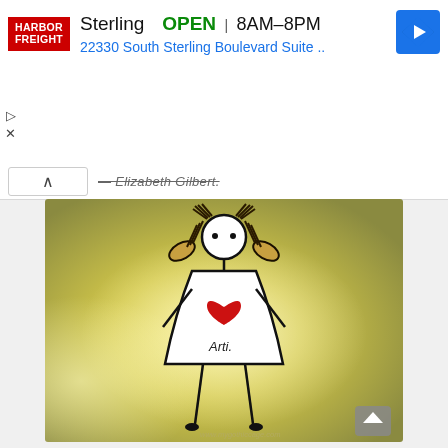[Figure (infographic): Harbor Freight Tools advertisement banner showing logo, 'Sterling OPEN 8AM-8PM', address '22330 South Sterling Boulevard Suite ..', and a blue diamond navigation arrow icon]
— Elizabeth Gilbert.
[Figure (illustration): A simple stick-figure drawing of a girl with pigtails wearing a dress with a red heart on it and 'Arti.' written on the dress, on a warm yellow-green gradient background. Watermark reads www.mygothiccage.com]